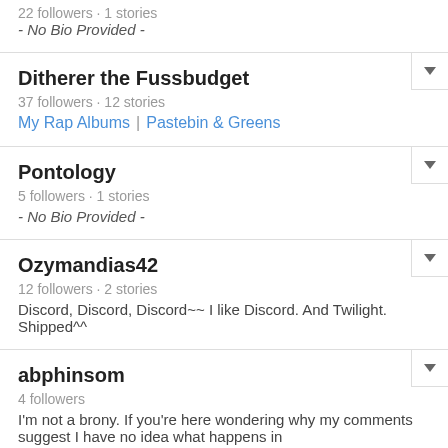22 followers · 1 stories
- No Bio Provided -
Ditherer the Fussbudget
37 followers · 12 stories
My Rap Albums | Pastebin & Greens
Pontology
5 followers · 1 stories
- No Bio Provided -
Ozymandias42
12 followers · 2 stories
Discord, Discord, Discord~~ I like Discord. And Twilight. Shipped^^
abphinsom
4 followers
I'm not a brony. If you're here wondering why my comments suggest I have no idea what happens in